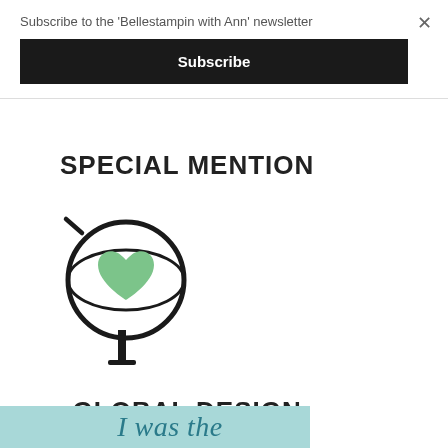Subscribe to the 'Bellestampin with Ann' newsletter
Subscribe
[Figure (logo): Global Design Project badge: globe outline with a green heart inside, on a stand, with text 'SPECIAL MENTION' above and 'GLOBAL DESIGN PROJECT' below]
[Figure (other): Partial teal banner at the bottom with italic text 'I was the']